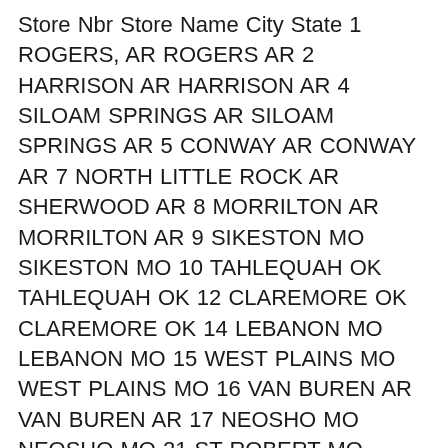| Store Nbr | Store Name | City | State |
| --- | --- | --- | --- |
| 1 | ROGERS, AR | ROGERS | AR |
| 2 | HARRISON AR | HARRISON | AR |
| 4 | SILOAM SPRINGS AR | SILOAM SPRINGS | AR |
| 5 | CONWAY AR | CONWAY | AR |
| 7 | NORTH LITTLE ROCK AR | SHERWOOD | AR |
| 8 | MORRILTON AR | MORRILTON | AR |
| 9 | SIKESTON MO | SIKESTON | MO |
| 10 | TAHLEQUAH OK | TAHLEQUAH | OK |
| 12 | CLAREMORE OK | CLAREMORE | OK |
| 14 | LEBANON MO | LEBANON | MO |
| 15 | WEST PLAINS MO | WEST PLAINS | MO |
| 16 | VAN BUREN AR | VAN BUREN | AR |
| 17 | NEOSHO MO | NEOSHO | MO |
| 21 | ST ROBERT MO /WAYNESVILLE | SAINT ROBERT | MO |
| 24 | JACKSONVILLE AR | JACKSONVILLE | AR |
| 25 | MEXICO MO | MEXICO | MO |
| 28 | MIAMI OK | MIAMI | OK |
| 29 | JEFFERSON CITY MO | JEFFERSON CITY | MO |
| 31 | POTEAU OK | POTEAU | OK |
| 34 | NEVADA MO | NEVADA | MO |
| 35 | MANHATTAN KS | MANHATTAN | KS |
| 36 | PARAGOULD AR | PARAGOULD | AR |
| 38 | IDABEL OK | IDABEL | OK |
| 39 | FORT SCOTT KS | FORT SCOTT | KS |
| 41 | BARTLESVILLE OK | BARTLESVILLE | OK |
| 43 | JUNCTION ... |  |  |